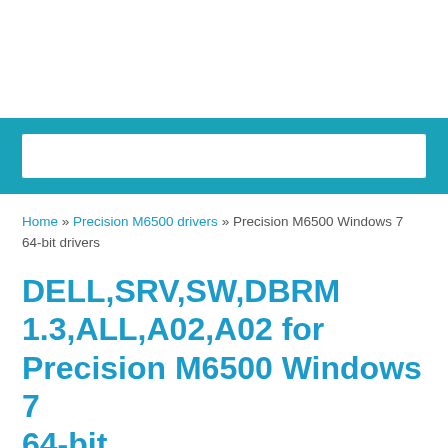[Figure (screenshot): White header area with teal/cyan background banner containing a white search box rectangle]
Home » Precision M6500 drivers » Precision M6500 Windows 7 64-bit drivers
DELL,SRV,SW,DBRM 1.3,ALL,A02,A02 for Precision M6500 Windows 7 64-bit
Download Now